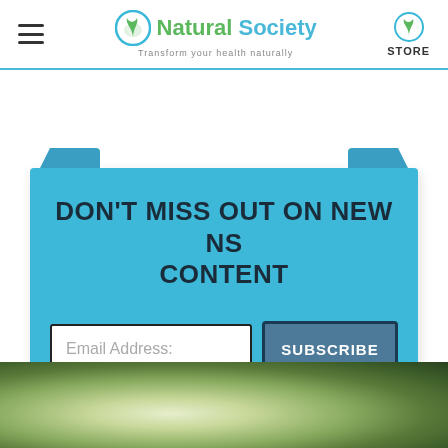Natural Society — Transform your health naturally | STORE
DON'T MISS OUT ON NEW NS CONTENT
Email Address: [input field] SUBSCRIBE [button]
[Figure (photo): Green blurred nature/plant background photo at bottom of page]